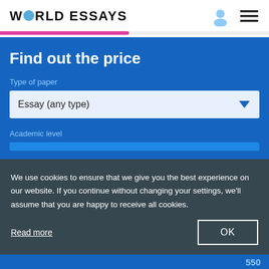WORLD ESSAYS
[Figure (screenshot): Website screenshot of World Essays essay writing service with price calculator form]
Find out the price
Type of paper
Essay (any type)
Academic level
We use cookies to ensure that we give you the best experience on our website. If you continue without changing your settings, we'll assume that you are happy to receive all cookies.
Read more
OK
550